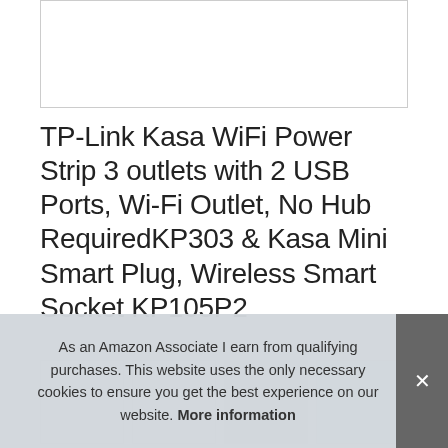[Figure (photo): Product image placeholder box (white rectangle with border)]
TP-Link Kasa WiFi Power Strip 3 outlets with 2 USB Ports, Wi-Fi Outlet, No Hub RequiredKP303 & Kasa Mini Smart Plug, Wireless Smart Socket KP105P2
[Figure (photo): Row of four product thumbnail images]
TP-
and
As an Amazon Associate I earn from qualifying purchases. This website uses the only necessary cookies to ensure you get the best experience on our website. More information